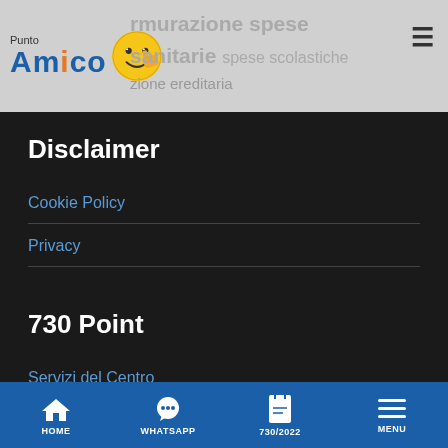Punto Amico — rmurazione spese sanitarie spese scolastiche zione ereditaria
Disclaimer
Cookie Policy
Privacy
730 Point
Servizi del Centro
Denuncia successione ereditaria
HOME  WHATSAPP  730/2022  MENU